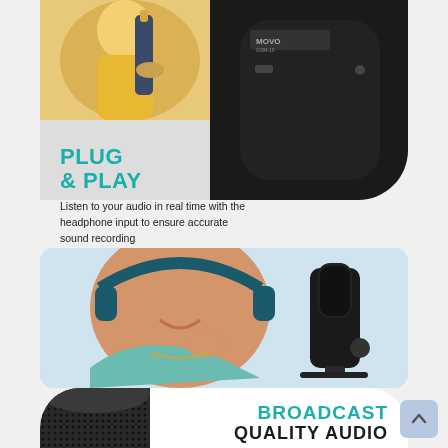[Figure (photo): Top section showing person in yellow shirt holding Movo microphone, with close-up of black microphone body showing USB-C port and headphone jack]
PLUG & PLAY
Listen to your audio in real time with the headphone input to ensure accurate sound recording
[Figure (photo): Woman wearing teal top and headphones, smiling, with a black Movo USB microphone on a stand to the right]
[Figure (photo): Close-up of black microphone mesh grille in lower left corner]
BROADCAST QUALITY AUDIO